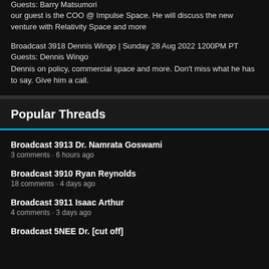Guests: Barry Matsumori
our guest is the COO @ Impulse Space. He will discuss the new venture with Relativity Space and more
Broadcast 3918 Dennis Wingo | Sunday 28 Aug 2022 1200PM PT
Guests: Dennis Wingo
Dennis on policy, commercial space and more. Don't miss what he has to say. Give him a call.
Popular Threads
Broadcast 3913 Dr. Namrata Goswami
3 comments · 6 hours ago
Broadcast 3910 Ryan Reynolds
18 comments · 4 days ago
Broadcast 3911 Isaac Arthur
4 comments · 3 days ago
Broadcast 5NEE Dr. [cut off]